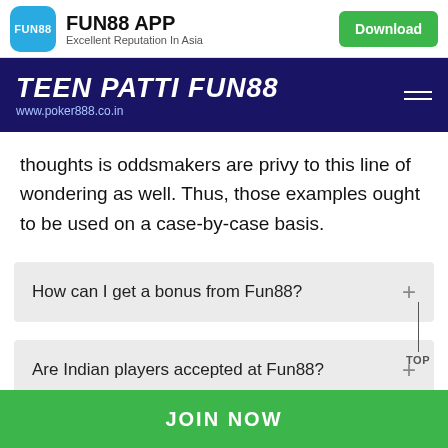FUN88 APP – Excellent Reputation In Asia | Download
TEEN PATTI FUN88 – www.poker888.co.in
thoughts is oddsmakers are privy to this line of wondering as well. Thus, those examples ought to be used on a case-by-case basis.
How can I get a bonus from Fun88?
Are Indian players accepted at Fun88?
JOIN NOW